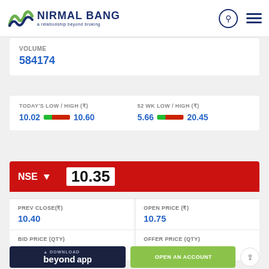[Figure (logo): Nirmal Bang logo with tagline 'a relationship beyond broking']
VOLUME
584174
TODAY'S LOW / HIGH (₹) 10.02 — 10.60
52 WK LOW / HIGH (₹) 5.66 — 20.45
NSE ↓ 10.35 -0.05 (-0.48 %)
| PREV CLOSE(₹) | OPEN PRICE (₹) |
| --- | --- |
| 10.40 | 10.75 |
| BID PRICE (QTY) | OFFER PRICE (QTY) |
| --- | --- |
| 10.25 (34) | 10.30 (50000) |